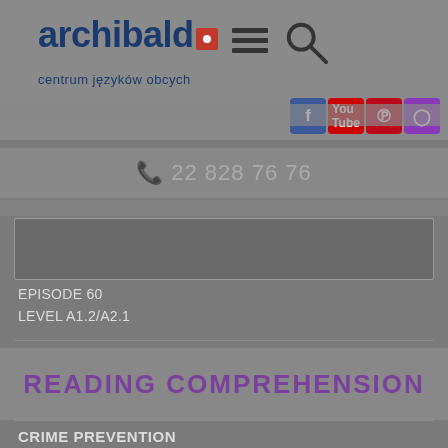archibald centrum języków obcych
22 828 76 76
EPISODE 60
LEVEL A1.2/A2.1
READING COMPREHENSION
CRIME PREVENTION